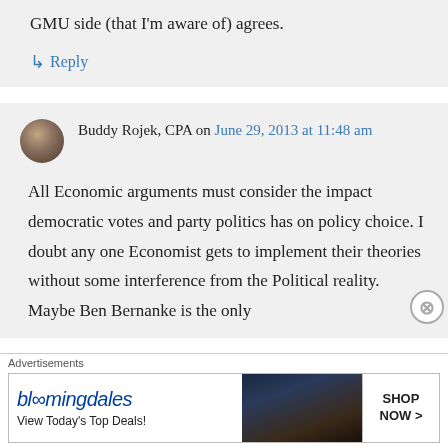GMU side (that I'm aware of) agrees.
↳ Reply
Buddy Rojek, CPA on June 29, 2013 at 11:48 am
All Economic arguments must consider the impact democratic votes and party politics has on policy choice. I doubt any one Economist gets to implement their theories without some interference from the Political reality. Maybe Ben Bernanke is the only
Advertisements
[Figure (other): Bloomingdale's advertisement banner: 'View Today's Top Deals!' with SHOP NOW > button and image of woman in hat]